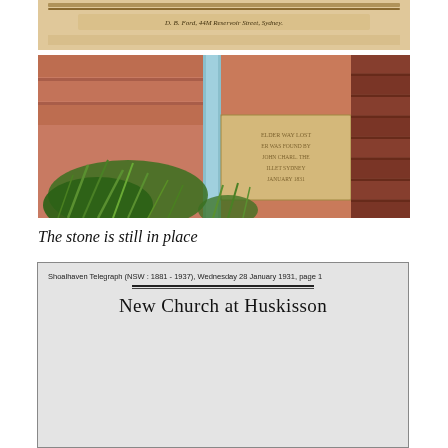[Figure (photo): Partial view of a beige/tan document with text 'D. B. Ford, 44M Reservoir Street, Sydney.' visible at the top]
[Figure (photo): Photograph of an inscribed sandstone foundation stone embedded in a brick wall, with green plants (grass-like foliage) in front, a blue pipe/column visible, and red brick wall on the right side]
The stone is still in place
[Figure (screenshot): Screenshot of a newspaper clipping from Shoalhaven Telegraph (NSW : 1881 - 1937), Wednesday 28 January 1931, page 1, showing headline 'New Church at Huskisson']